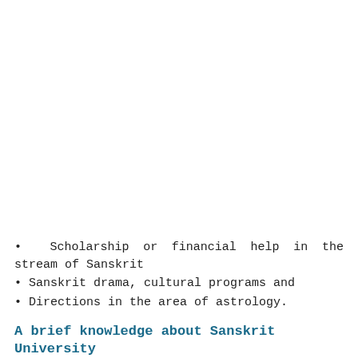• Scholarship or financial help in the stream of Sanskrit
• Sanskrit drama, cultural programs and
• Directions in the area of astrology.
A brief knowledge about Sanskrit University